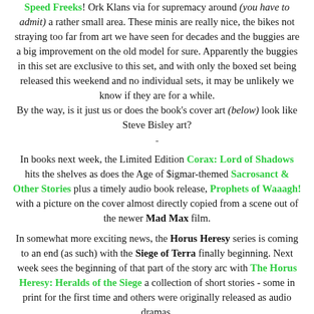Speed Freeks! Ork Klans via for supremacy around (you have to admit) a rather small area. These minis are really nice, the bikes not straying too far from art we have seen for decades and the buggies are a big improvement on the old model for sure. Apparently the buggies in this set are exclusive to this set, and with only the boxed set being released this weekend and no individual sets, it may be unlikely we know if they are for a while. By the way, is it just us or does the book's cover art (below) look like Steve Bisley art?
-
In books next week, the Limited Edition Corax: Lord of Shadows hits the shelves as does the Age of $igmar-themed Sacrosanct & Other Stories plus a timely audio book release, Prophets of Waaagh! with a picture on the cover almost directly copied from a scene out of the newer Mad Max film.
In somewhat more exciting news, the Horus Heresy series is coming to an end (as such) with the Siege of Terra finally beginning. Next week sees the beginning of that part of the story arc with The Horus Heresy: Heralds of the Siege a collection of short stories - some in print for the first time and others were originally released as audio dramas.